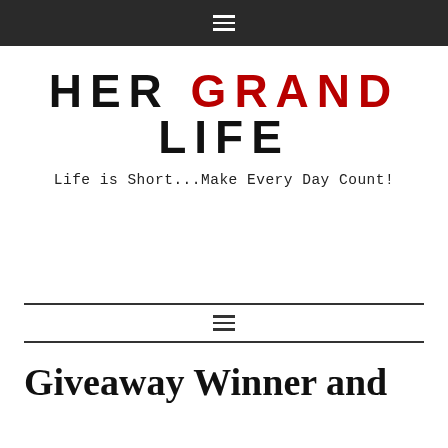≡
[Figure (logo): Her Grand Life blog logo — HER in black, GRAND in red, LIFE in black, all caps bold sans-serif]
Life is Short...Make Every Day Count!
≡
Giveaway Winner and